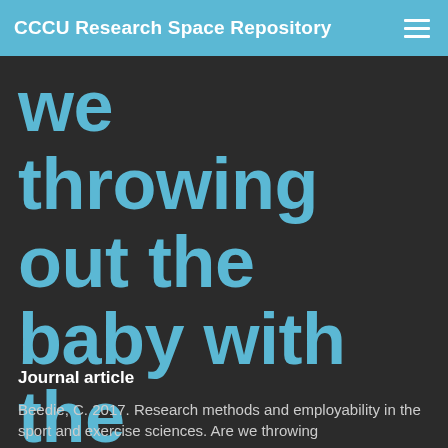CCCU Research Space Repository
we throwing out the baby with the bathwater?
Journal article
Beedie, C. 2017. Research methods and employability in the sport and exercise sciences. Are we throwing